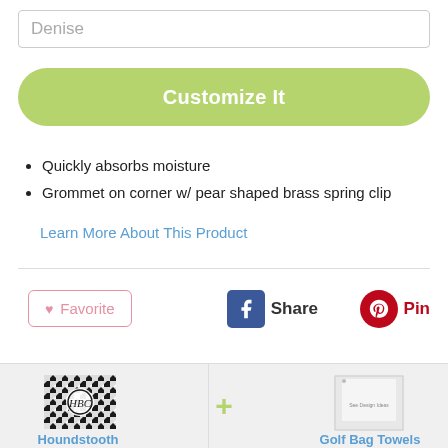Denise
Customize It
Quickly absorbs moisture
Grommet on corner w/ pear shaped brass spring clip
Learn More About This Product
❤ Favorite
Share
Pin
[Figure (other): Houndstooth patterned golf towel product thumbnail]
Houndstooth
[Figure (other): Golf Bag Towel product thumbnail - white towel]
Golf Bag Towels